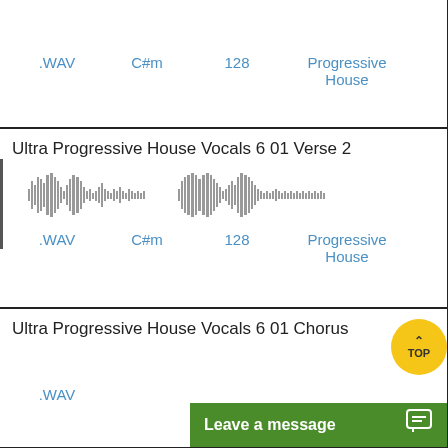| File | Key | BPM | Genre |
| --- | --- | --- | --- |
| .WAV | C#m | 128 | Progressive House |
Ultra Progressive House Vocals 6 01 Verse 2
[Figure (other): Two audio waveform visualizations side by side, grey color]
| File | Key | BPM | Genre |
| --- | --- | --- | --- |
| .WAV | C#m | 128 | Progressive House |
Ultra Progressive House Vocals 6 01 Chorus
| File |
| --- |
| .WAV |
Leave a message